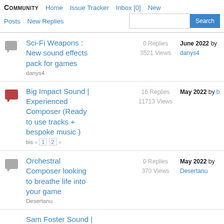COMMUNITY  Home  Issue Tracker  Inbox [0]  New  Posts  New Replies  Search
Sci-Fi Weapons : New sound effects pack for games | danys4 | 0 Replies 3521 Views | June 2022 by danys4
Big Impact Sound | Experienced Composer (Ready to use tracks + bespoke music) | bis « 1 2 » | 16 Replies 11713 Views | May 2022 by b
Orchestral Composer looking to breathe life into your game | Desertanu | 0 Replies 370 Views | May 2022 by Desertanu
Sam Foster Sound |